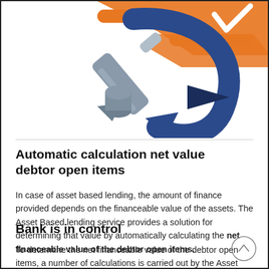[Figure (illustration): Illustration showing tools and financial symbols in orange, blue, and grey colors — pencil, wrench, and arrows indicating calculation or processing]
Automatic calculation net value debtor open items
In case of asset based lending, the amount of finance provided depends on the financeable value of the assets. The Asset Based lending service provides a solution for determining that value by automatically calculating the net financeable value of the debtor open items.
Bank is in control
To determine the net financeable value of the debtor open items, a number of calculations is carried out by the Asset Based lending service...